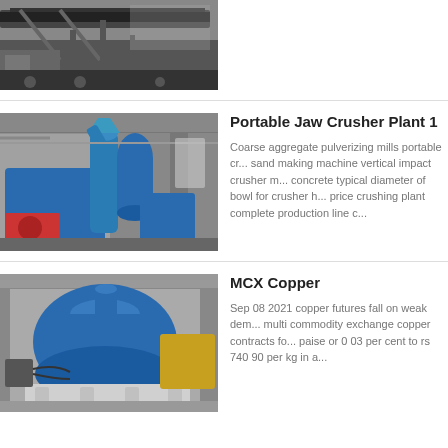[Figure (photo): Industrial conveyor belt and mining equipment, black and white photo, partial view at top of page]
[Figure (photo): Blue industrial jaw crusher plant machinery inside a factory/warehouse]
Portable Jaw Crusher Plant 1
Coarse aggregate pulverizing mills portable cr... sand making machine vertical impact crusher m... concrete typical diameter of bowl for crusher h... price crushing plant complete production line c...
[Figure (photo): Large blue MCX copper cone crusher machine in industrial facility]
MCX Copper
Sep 08 2021  copper futures fall on weak dem... multi commodity exchange copper contracts fo... paise or 0 03 per cent to rs 740 90 per kg in a...